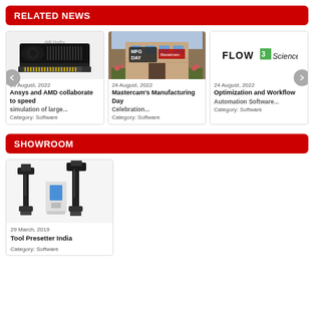RELATED NEWS
[Figure (photo): AMD GPU graphics card product photo]
25 August, 2022
Ansys and AMD collaborate to speed simulation of large
Category: Software
[Figure (photo): Building entrance with MFG DAY sign and Mastercam branding]
24 August, 2022
Mastercam's Manufacturing Day Celebration
Category: Software
[Figure (logo): Flow Science logo]
24 August, 2022
Optimization and Workflow Automation Software
Category: Software
SHOWROOM
[Figure (photo): Tool presetter equipment - industrial measurement devices in black and white]
29 March, 2019
Tool Presetter India
Category: Software